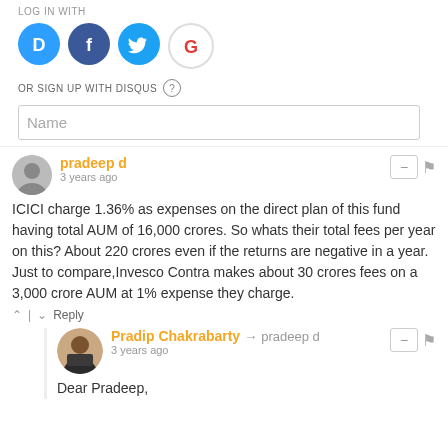LOG IN WITH
[Figure (illustration): Social login icons: Disqus (D, blue), Facebook (f, dark blue), Twitter (bird, light blue), Google (G, red/multicolor)]
OR SIGN UP WITH DISQUS ?
Name
pradeep d
3 years ago
ICICI charge 1.36% as expenses on the direct plan of this fund having total AUM of 16,000 crores. So whats their total fees per year on this? About 220 crores even if the returns are negative in a year.
Just to compare,Invesco Contra makes about 30 crores fees on a 3,000 crore AUM at 1% expense they charge.
^ | v Reply
Pradip Chakrabarty → pradeep d
3 years ago
Dear Pradeep,